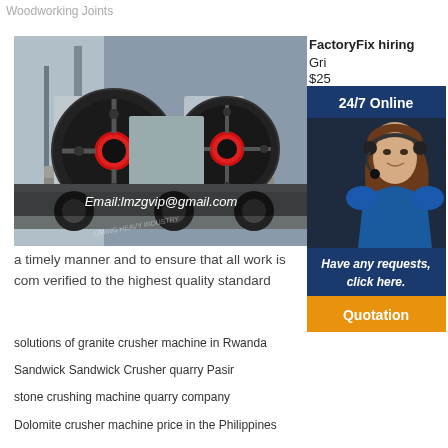Woodworking Joints
[Figure (photo): Industrial jaw crusher machine in a factory setting with red and black flywheel visible, with email overlay text 'Email:lmzgvip@gmail.com']
FactoryFix hiring
Gri
$25
The
the
is to
grin
[Figure (photo): Advertisement panel with woman wearing headset, '24/7 Online' blue banner, 'Have any requests, click here.' text, and 'Quotation' orange button]
a timely manner and to ensure that all work is com verified to the highest quality standard
solutions of granite crusher machine in Rwanda
Sandwick Sandwick Crusher quarry Pasir
stone crushing machine quarry company
Dolomite crusher machine price in the Philippines